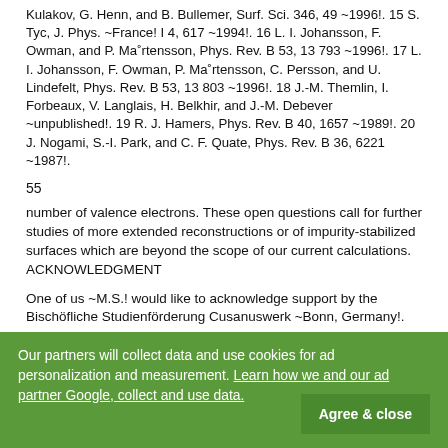Kulakov, G. Henn, and B. Bullemer, Surf. Sci. 346, 49 ~1996!. 15 S. Tyc, J. Phys. ~France! I 4, 617 ~1994!. 16 L. I. Johansson, F. Owman, and P. Ma°rtensson, Phys. Rev. B 53, 13 793 ~1996!. 17 L. I. Johansson, F. Owman, P. Ma°rtensson, C. Persson, and U. Lindefelt, Phys. Rev. B 53, 13 803 ~1996!. 18 J.-M. Themlin, I. Forbeaux, V. Langlais, H. Belkhir, and J.-M. Debever ~unpublished!. 19 R. J. Hamers, Phys. Rev. B 40, 1657 ~1989!. 20 J. Nogami, S.-I. Park, and C. F. Quate, Phys. Rev. B 36, 6221 ~1987!.
55
number of valence electrons. These open questions call for further studies of more extended reconstructions or of impurity-stabilized surfaces which are beyond the scope of our current calculations. ACKNOWLEDGMENT
One of us ~M.S.! would like to acknowledge support by the Bischo¨fliche Studienfo¨rderung Cusanuswerk ~Bonn, Germany!.
Our partners will collect data and use cookies for ad personalization and measurement. Learn how we and our ad partner Google, collect and use data. Agree & close